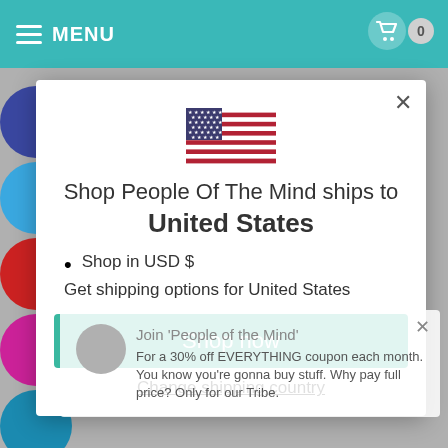MENU
[Figure (screenshot): US flag icon centered in modal]
Shop People Of The Mind ships to United States
Shop in USD $
Get shipping options for United States
Shop now
Change shipping country
Join 'People of the Mind'
For a 30% off EVERYTHING coupon each month. You know you're gonna buy stuff. Why pay full price? Only for our Tribe.